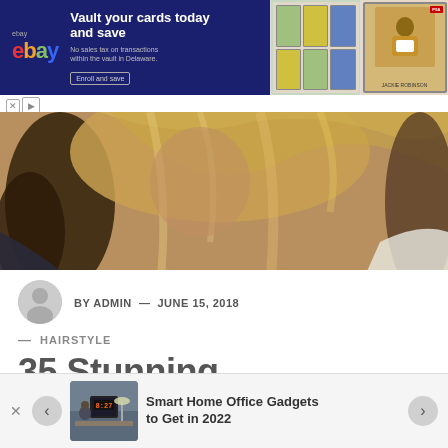[Figure (screenshot): eBay advertisement banner: 'Vault your cards today and save' with Pokemon cards and a PSA-graded baseball card]
[Figure (photo): Hero image of a woman with medium length highlighted hair, partially cropped]
BY ADMIN — JUNE 15, 2018
— HAIRSTYLE
35 Stunning Medium Length Hairstyles To Try
[Figure (screenshot): Bottom widget showing 'Smart Home Office Gadgets to Get in 2022' with a photo of a home office with a clock reading 8:27, navigation arrows, and close button]